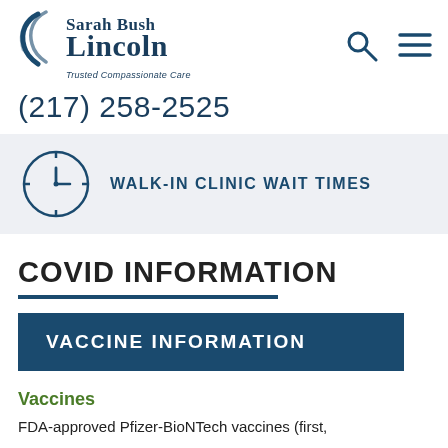[Figure (logo): Sarah Bush Lincoln logo with swoosh icon and tagline 'Trusted Compassionate Care']
(217) 258-2525
[Figure (infographic): Walk-in Clinic Wait Times banner with clock icon]
COVID INFORMATION
VACCINE INFORMATION
Vaccines
FDA-approved Pfizer-BioNTech vaccines (first,